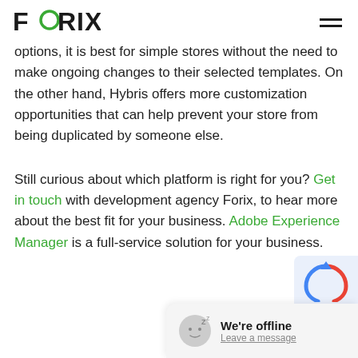FORIX
options, it is best for simple stores without the need to make ongoing changes to their selected templates. On the other hand, Hybris offers more customization opportunities that can help prevent your store from being duplicated by someone else.
Still curious about which platform is right for you? Get in touch with development agency Forix, to hear more about the best fit for your business. Adobe Experience Manager is a full-service solution for your business.